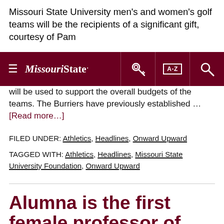Missouri State University men's and women's golf teams will be the recipients of a significant gift, courtesy of Pam
Missouri State [navigation bar with hamburger menu, logo, key icon, A-Z index, search icon]
will be used to support the overall budgets of the teams. The Burriers have previously established ... [Read more...]
FILED UNDER: Athletics, Headlines, Onward Upward
TAGGED WITH: Athletics, Headlines, Missouri State University Foundation, Onward Upward
Alumna is the first female professor of military science and